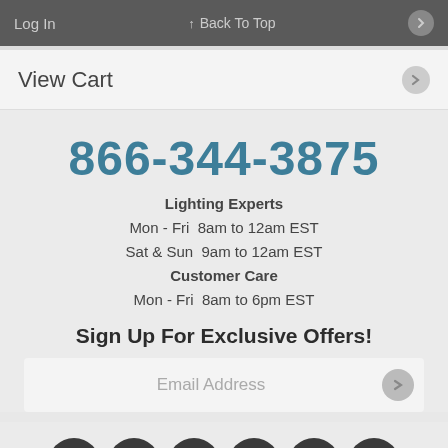Log In   ↑ Back To Top
View Cart
866-344-3875
Lighting Experts
Mon - Fri  8am to 12am EST
Sat & Sun  9am to 12am EST
Customer Care
Mon - Fri  8am to 6pm EST
Sign Up For Exclusive Offers!
Email Address
[Figure (infographic): Social media icons: Pinterest, Facebook, Twitter, YouTube, Instagram, LinkedIn]
↓  Go To Bottom